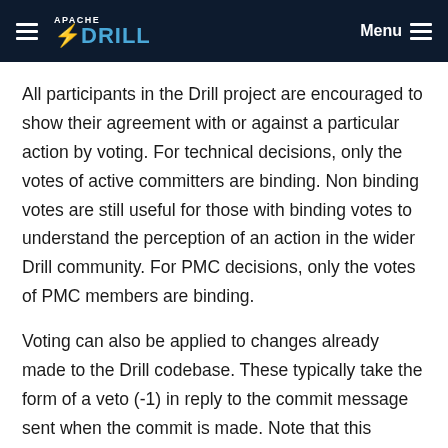APACHE DRILL  Menu
All participants in the Drill project are encouraged to show their agreement with or against a particular action by voting. For technical decisions, only the votes of active committers are binding. Non binding votes are still useful for those with binding votes to understand the perception of an action in the wider Drill community. For PMC decisions, only the votes of PMC members are binding.
Voting can also be applied to changes already made to the Drill codebase. These typically take the form of a veto (-1) in reply to the commit message sent when the commit is made. Note that this should be a rare occurrence. All efforts should be made to discuss issues when they are still patches before the code is committed.